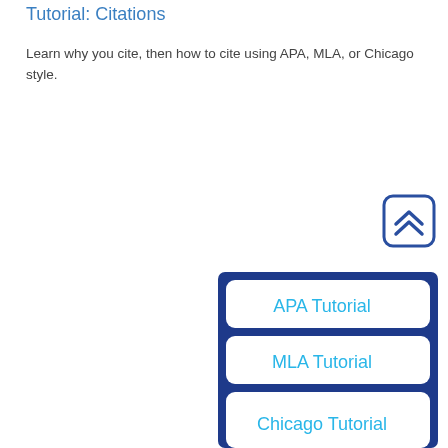Tutorial: Citations
Learn why you cite, then how to cite using APA, MLA, or Chicago style.
[Figure (other): Back to top button with double chevron up icon, rounded square border in dark blue]
[Figure (other): Navigation box with dark blue border containing three buttons: APA Tutorial, MLA Tutorial, Chicago Tutorial in light blue text on white rounded rectangles]